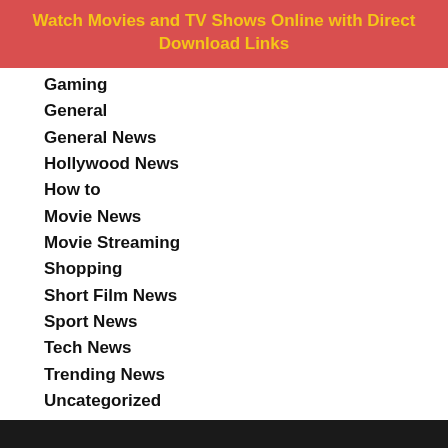Watch Movies and TV Shows Online with Direct Download Links
Gaming
General
General News
Hollywood News
How to
Movie News
Movie Streaming
Shopping
Short Film News
Sport News
Tech News
Trending News
Uncategorized